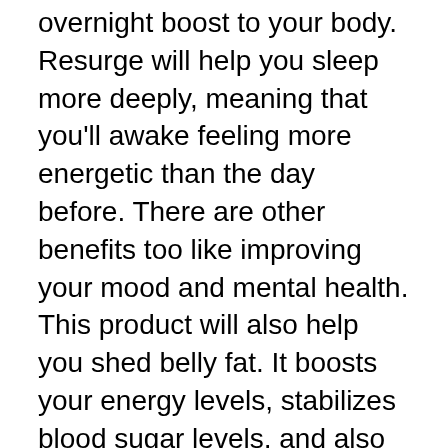overnight boost to your body. Resurge will help you sleep more deeply, meaning that you'll awake feeling more energetic than the day before. There are other benefits too like improving your mood and mental health. This product will also help you shed belly fat. It boosts your energy levels, stabilizes blood sugar levels, and also burns fat. Resurge is safe to take and comes with no side consequences.
Resurge is an effective natural sleep aid that has 8 ingredients. It improves the quality of sleep and makes it easier to fall asleep quicker. It also helps reduce stress and anxiety. It increases deep sleep and prevents ammonia being released during sleep. It also helps slow the production of aging...